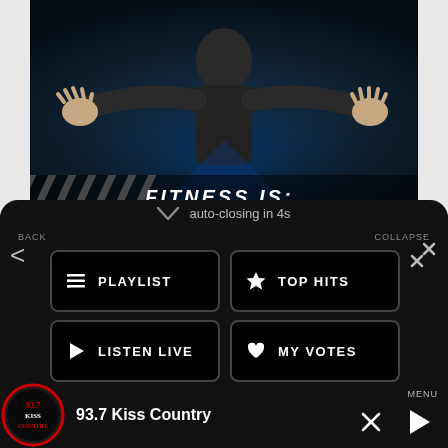[Figure (screenshot): Fitness app screenshot showing a person in athletic wear with arms spread wide against a blue-lit background. Text 'FITNESS IS:' visible at bottom of image.]
auto-closing in 4s
BACK
COLLAPSE
PLAYLIST
TOP HITS
LISTEN LIVE
MY VOTES
CONTROLS
Data opt-out
Best Virginia Music Festival
Appaloosa Music Festival
93.7 Kiss Country
MENU